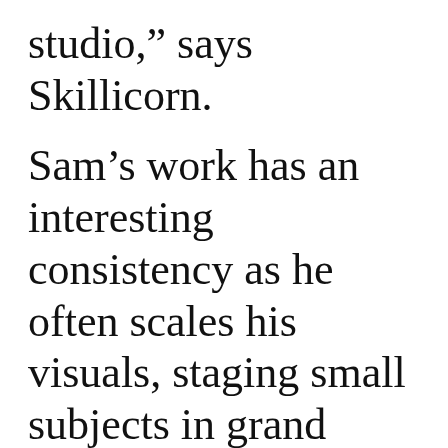studio,” says Skillicorn. Sam’s work has an interesting consistency as he often scales his visuals, staging small subjects in grand